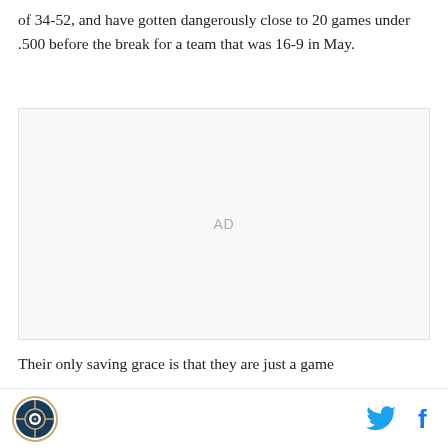of 34-52, and have gotten dangerously close to 20 games under .500 before the break for a team that was 16-9 in May.
[Figure (other): Advertisement placeholder box with 'AD' label in center]
Their only saving grace is that they are just a game...
Site logo | Twitter share icon | Facebook share icon